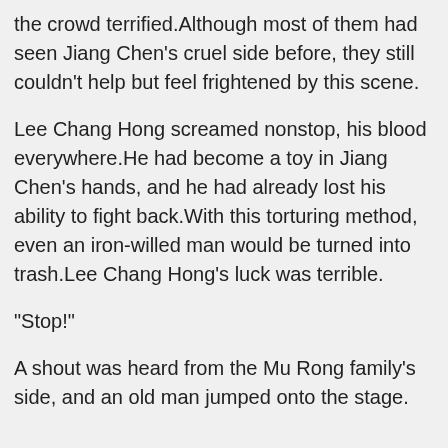the crowd terrified.Although most of them had seen Jiang Chen's cruel side before, they still couldn't help but feel frightened by this scene.
Lee Chang Hong screamed nonstop, his blood everywhere.He had become a toy in Jiang Chen's hands, and he had already lost his ability to fight back.With this torturing method, even an iron-willed man would be turned into trash.Lee Chang Hong's luck was terrible.
“Stop!”
A shout was heard from the Mu Rong family's side, and an old man jumped onto the stage.